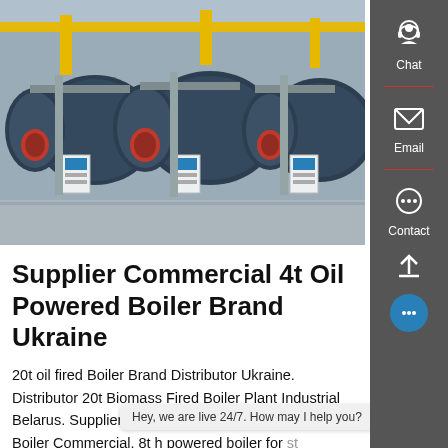[Figure (photo): Industrial boiler room with three large horizontal cylindrical boilers in dark blue/grey, red burners, yellow overhead pipes, control panels, in a factory setting.]
Supplier Commercial 4t Oil Powered Boiler Brand Ukraine
20t oil fired Boiler Brand Distributor Ukraine. Distributor 20t Biomass Fired Boiler Plant Industrial Belarus. Supplier 20t Biomass Atmospheric Pressure Boiler Commercial. 8t h powered boiler for st Myanmar cost for manufacturer 6t waste wood steam fo...